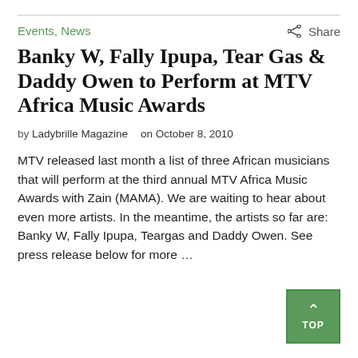Events, News
Banky W, Fally Ipupa, Tear Gas & Daddy Owen to Perform at MTV Africa Music Awards
by Ladybrille Magazine   on October 8, 2010
MTV released last month a list of three African musicians that will perform at the third annual MTV Africa Music Awards with Zain (MAMA). We are waiting to hear about even more artists. In the meantime, the artists so far are: Banky W, Fally Ipupa, Teargas and Daddy Owen. See press release below for more …